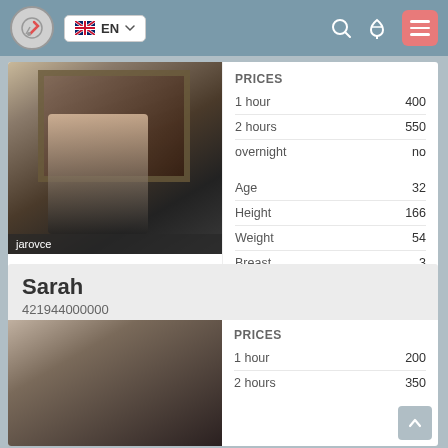EN
jarovce
| PRICES |  |
| --- | --- |
| 1 hour | 400 |
| 2 hours | 550 |
| overnight | no |
|  |  |
| --- | --- |
| Age | 32 |
| Height | 166 |
| Weight | 54 |
| Breast | 3 |
Sarah
421944000000
| PRICES |  |
| --- | --- |
| 1 hour | 200 |
| 2 hours | 350 |